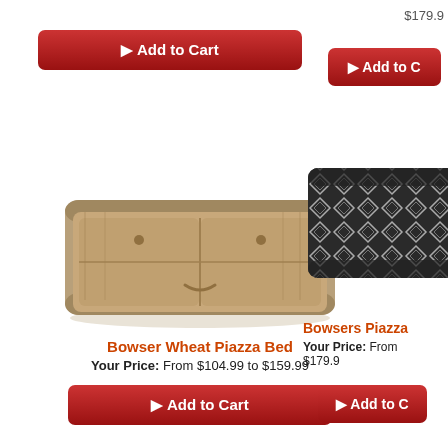[Figure (photo): Add to Cart button at top left]
[Figure (photo): Price $179.9 and Add to Cart button at top right (partially visible)]
[Figure (photo): Bowser Wheat Piazza Bed - tan/beige rectangular dog bed]
Bowser Wheat Piazza Bed
Your Price: From $104.99 to $159.99
[Figure (photo): Add to Cart button (red)]
[Figure (photo): Bowsers Piazza (black/white pattern) dog bed - partially visible on right]
Bowsers Piazza
Your Price: From $179.9
[Figure (photo): Add to Cart button on right (partially visible)]
[Figure (photo): Bowsers Piazza Allumina - gray rectangular dog bed]
Bowsers Piazza Allumina
[Figure (photo): Red/burgundy dog bed on right (partially visible)]